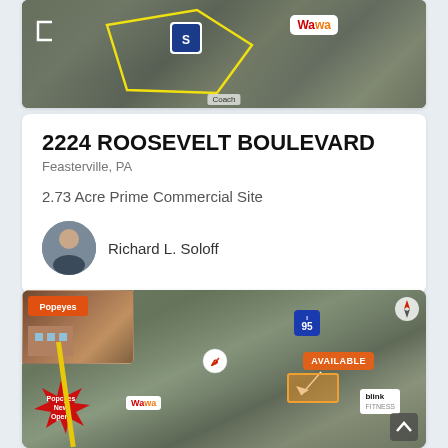[Figure (photo): Aerial satellite view of 2224 Roosevelt Boulevard property showing parcels outlined in yellow, with Wawa and COTA logos visible]
2224 ROOSEVELT BOULEVARD
Feasterville, PA
2.73 Acre Prime Commercial Site
Richard L. Soloff
[Figure (photo): Aerial view of commercial real estate site showing Popeyes (New Open), Chilis, Wawa, blink fitness, and an AVAILABLE parcel near I-95 highway with Tulip Street visible]